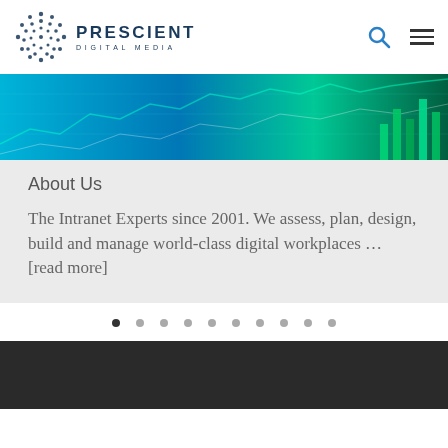[Figure (logo): Prescient Digital Media logo with dot-pattern globe icon and text 'PRESCIENT DIGITAL MEDIA']
[Figure (photo): Abstract banner image with blue-green financial chart graphics and data visualization on teal/blue background]
About Us
The Intranet Experts since 2001. We assess, plan, design, build and manage world-class digital workplaces ... [read more]
[Figure (other): Carousel dot indicators, 10 dots with first dot active/filled]
[Figure (photo): Dark gray/charcoal background section at bottom of page]